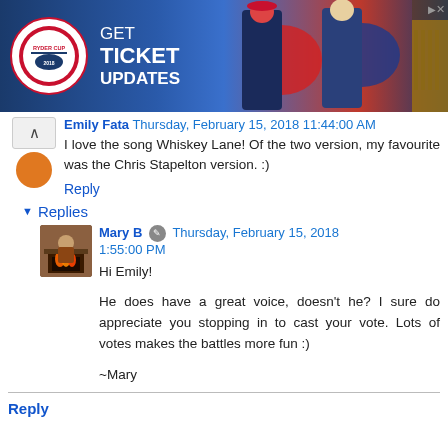[Figure (other): Ryder Cup advertisement banner: GET TICKET UPDATES with Ryder Cup logo and golf player images]
Emily Fata  Thursday, February 15, 2018 11:44:00 AM
I love the song Whiskey Lane! Of the two version, my favourite was the Chris Stapelton version. :)
Reply
▼ Replies
Mary B  Thursday, February 15, 2018 1:55:00 PM
Hi Emily!

He does have a great voice, doesn't he? I sure do appreciate you stopping in to cast your vote. Lots of votes makes the battles more fun :)

~Mary
Reply